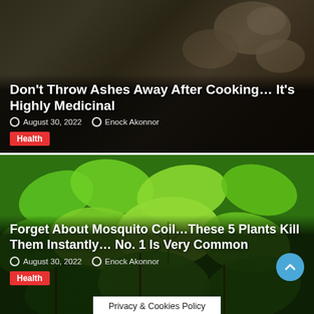[Figure (photo): Dark soil/earth background with potato-like objects, article card 1]
Don't Throw Ashes Away After Cooking… It's Highly Medicinal
August 30, 2022   Enock Akonnor
Health
[Figure (photo): Close-up of fresh green mint/herb plants with vibrant leaves, article card 2]
Forget About Mosquito Coil…These 5 Plants Kill Them Instantly… No. 1 Is Very Common
August 30, 2022   Enock Akonnor
Health
Privacy & Cookies Policy